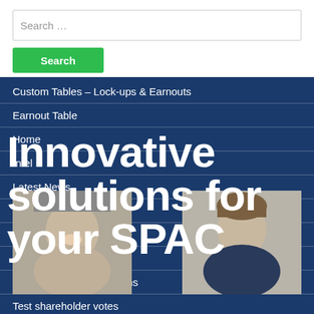Search ...
Search
Innovative solutions for your SPAC
Custom Tables – Lock-ups & Earnouts
Earnout Table
Home
Intel
Latest News
League Tables
My Account
Projections
SPACInsider Subscriptions
Test shareholder votes
[Figure (photo): Headshot photo of a smiling man]
[Figure (photo): Headshot photo of a young man in suit]